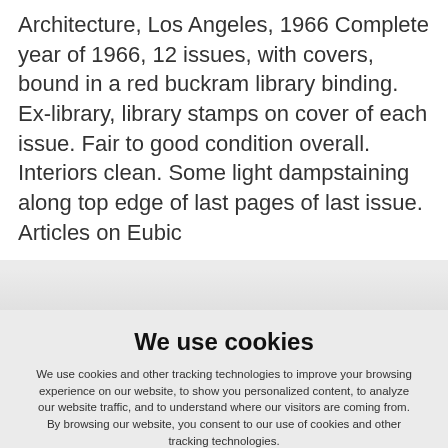Architecture, Los Angeles, 1966 Complete year of 1966, 12 issues, with covers, bound in a red buckram library binding. Ex-library, library stamps on cover of each issue. Fair to good condition overall. Interiors clean. Some light dampstaining along top edge of last pages of last issue. Articles on Eubic...
We use cookies
We use cookies and other tracking technologies to improve your browsing experience on our website, to show you personalized content, to analyze our website traffic, and to understand where our visitors are coming from. By browsing our website, you consent to our use of cookies and other tracking technologies.